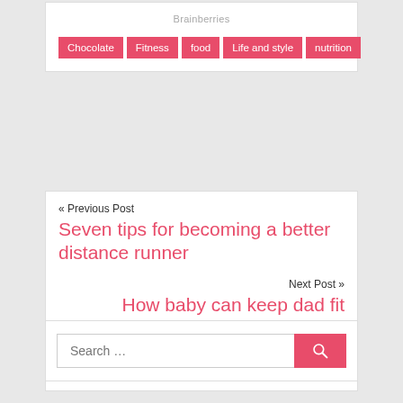Brainberries
Chocolate
Fitness
food
Life and style
nutrition
« Previous Post
Seven tips for becoming a better distance runner
Next Post »
How baby can keep dad fit
09/30/2018    Fitness
Search ...